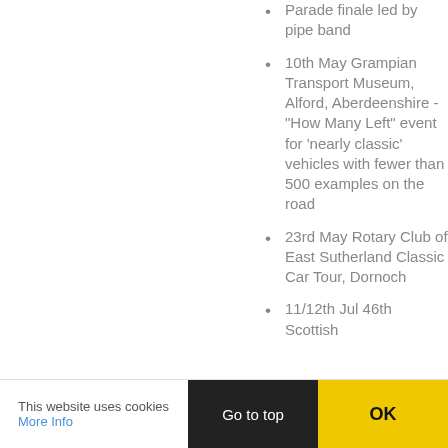Parade finale led by pipe band
10th May Grampian Transport Museum, Alford, Aberdeenshire - "How Many Left" event for 'nearly classic' vehicles with fewer than 500 examples on the road
23rd May Rotary Club of East Sutherland Classic Car Tour, Dornoch
11/12th Jul 46th Scottish
This website uses cookies More Info | Go to top | OK